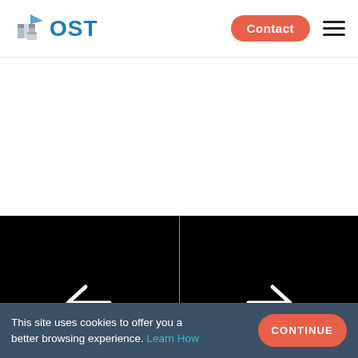OST — Contact [hamburger menu]
[Figure (screenshot): Black slideshow area with left arrow on left half and right arrow on right half, separated by a vertical white line. Navigation carousel controls.]
This site uses cookies to offer you a better browsing experience. Learn How
CONTINUE